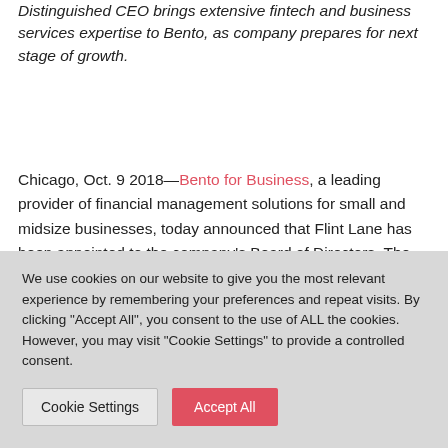Distinguished CEO brings extensive fintech and business services expertise to Bento, as company prepares for next stage of growth.
Chicago, Oct. 9 2018—Bento for Business, a leading provider of financial management solutions for small and midsize businesses, today announced that Flint Lane has been appointed to the company's Board of Directors. The appointment reflects Bento's expansion and continued growth across commercial payments, treasury management and business banking services.
We use cookies on our website to give you the most relevant experience by remembering your preferences and repeat visits. By clicking "Accept All", you consent to the use of ALL the cookies. However, you may visit "Cookie Settings" to provide a controlled consent.